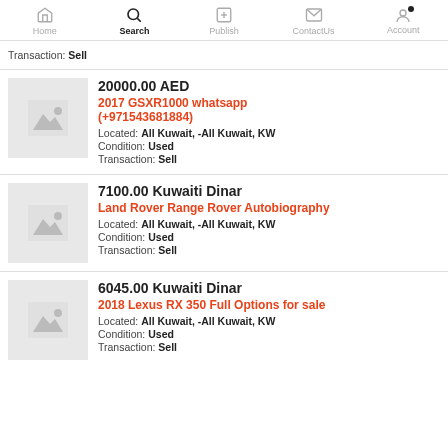Home | Search | Publish | ContactUs | Account
Transaction: Sell
20000.00 AED
2017 GSXR1000 whatsapp (+971543681884)
Located: All Kuwait, -All Kuwait, KW
Condition: Used
Transaction: Sell
7100.00 Kuwaiti Dinar
Land Rover Range Rover Autobiography
Located: All Kuwait, -All Kuwait, KW
Condition: Used
Transaction: Sell
6045.00 Kuwaiti Dinar
2018 Lexus RX 350 Full Options for sale
Located: All Kuwait, -All Kuwait, KW
Condition: Used
Transaction: Sell